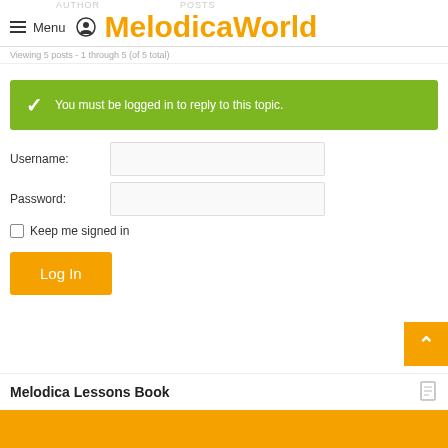AUTHOR   POSTS   Menu   MelodicaWorld
Viewing 5 posts - 1 through 5 (of 5 total)
✓ You must be logged in to reply to this topic.
Username:
Password:
Keep me signed in
Log In
Melodica Lessons Book